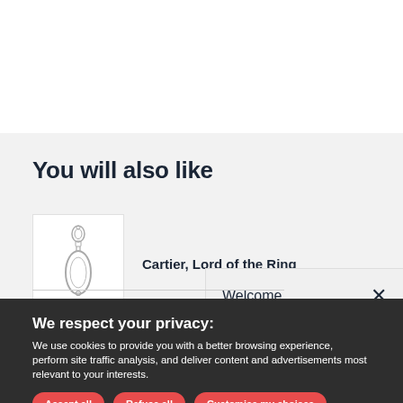You will also like
Cartier, Lord of the Ring
Welcome
We respect your privacy:
We use cookies to provide you with a better browsing experience, perform site traffic analysis, and deliver content and advertisements most relevant to your interests.
Accept all
Refuse all
Customise my choices